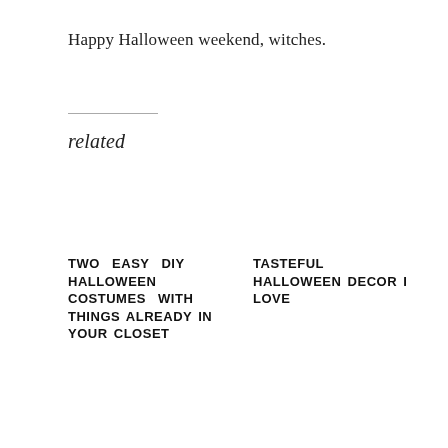Happy Halloween weekend, witches.
related
TWO EASY DIY HALLOWEEN COSTUMES WITH THINGS ALREADY IN YOUR CLOSET
TASTEFUL HALLOWEEN DECOR I LOVE